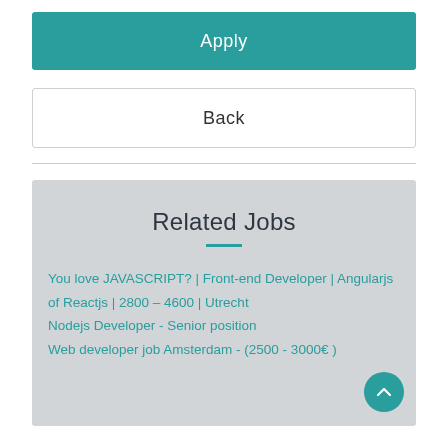Apply
Back
Related Jobs
You love JAVASCRIPT? | Front-end Developer | Angularjs of Reactjs | 2800 – 4600 | Utrecht
Nodejs Developer - Senior position
Web developer job Amsterdam - (2500 - 3000€ )